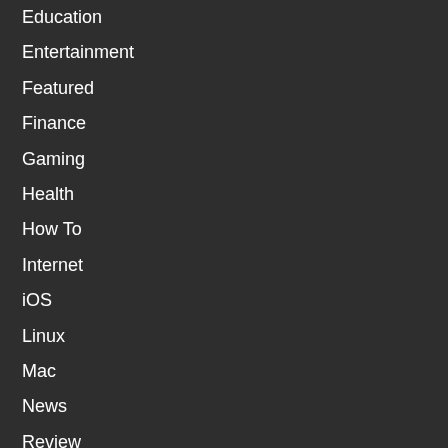Education
Entertainment
Featured
Finance
Gaming
Health
How To
Internet
iOS
Linux
Mac
News
Review
Router
Software